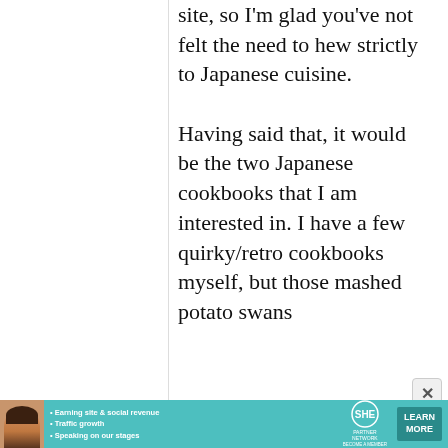site, so I'm glad you've not felt the need to hew strictly to Japanese cuisine.

Having said that, it would be the two Japanese cookbooks that I am interested in. I have a few quirky/retro cookbooks myself, but those mashed potato swans
[Figure (infographic): Advertisement banner for SHE Partner Network. Shows a woman's photo on the left, bullet points: Earning site & social revenue, Traffic growth, Speaking on our stages. SHE logo with Partner Network and Become a Member text. Learn More button.]